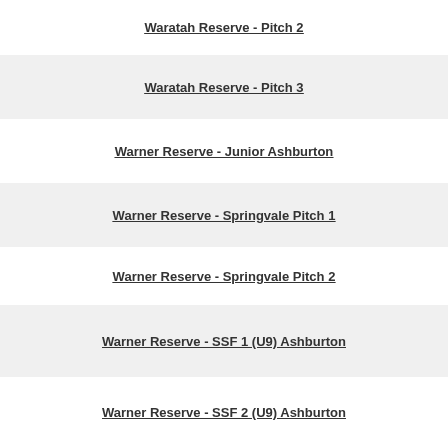Waratah Reserve - Pitch 2
Waratah Reserve - Pitch 3
Warner Reserve - Junior Ashburton
Warner Reserve - Springvale Pitch 1
Warner Reserve - Springvale Pitch 2
Warner Reserve - SSF 1 (U9) Ashburton
Warner Reserve - SSF 2 (U9) Ashburton